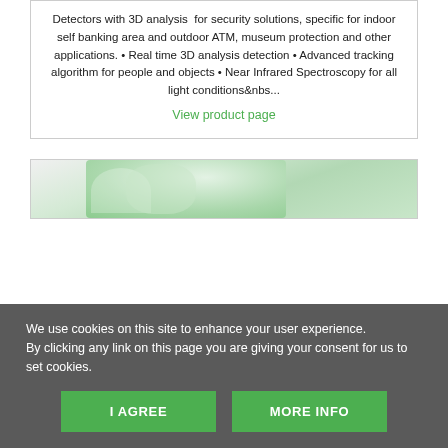Detectors with 3D analysis for security solutions, specific for indoor self banking area and outdoor ATM, museum protection and other applications. • Real time 3D analysis detection • Advanced tracking algorithm for people and objects • Near Infrared Spectroscopy for all light conditions&nbs...
View product page
[Figure (photo): Partial view of a product or outdoor scene with green foliage background]
We use cookies on this site to enhance your user experience.
By clicking any link on this page you are giving your consent for us to set cookies.
I AGREE
MORE INFO